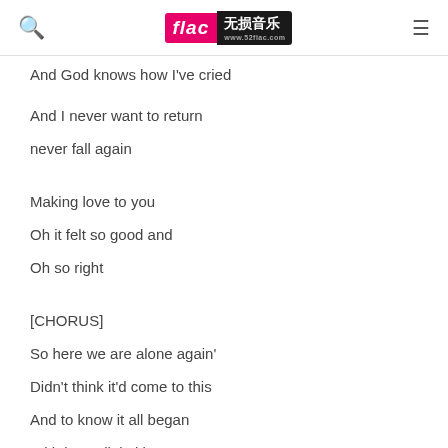flac 无损音乐 www.52flac.com
And God knows how I've cried
And I never want to return
never fall again
Making love to you
Oh it felt so good and
Oh so right
[CHORUS]
So here we are alone again'
Didn't think it'd come to this
And to know it all began
With just a little kiss
I've come too close to happiness